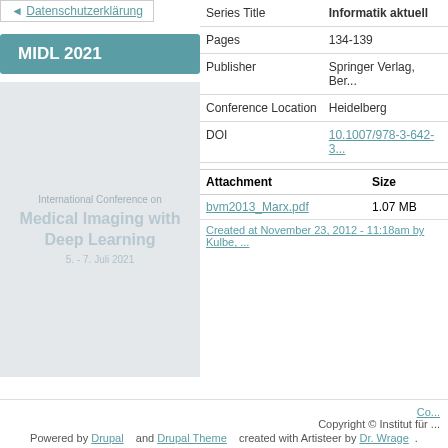Datenschutzerklärung
MIDL 2021
[Figure (illustration): Conference poster/banner for International Conference on Medical Imaging with Deep Learning, 5. - 7. Juli 2021]
|  |  |
| --- | --- |
| Series Title | Informatik aktuell |
| Pages | 134-139 |
| Publisher | Springer Verlag, Ber... |
| Conference Location | Heidelberg |
| DOI | 10.1007/978-3-642-3... |
| Attachment | Size |
| --- | --- |
| bvm2013_Marx.pdf | 1.07 MB |
Created at November 23, 2012 - 11:18am by Kulbe, ...
Contact  Copyright © Institut für ...  Powered by Drupal  and Drupal Theme  created with Artisteer by Dr. Wrage  .